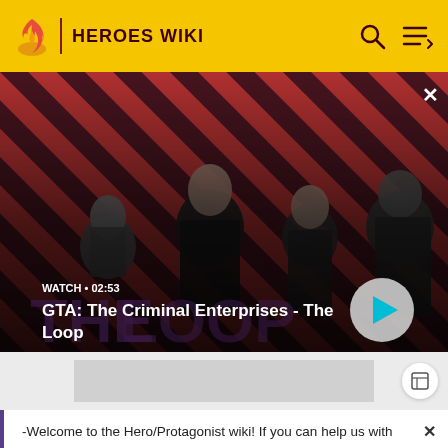HEROES WIKI
[Figure (screenshot): GTA: The Criminal Enterprises - The Loop video thumbnail with four characters on a red diagonal striped background. Shows WATCH • 02:53 label and play button.]
GTA: The Criminal Enterprises - The Loop
[Figure (other): Gray advertisement banner placeholder]
-Welcome to the Hero/Protagonist wiki! If you can help us with this wiki please sign up and help us! Thanks! -M-NUva